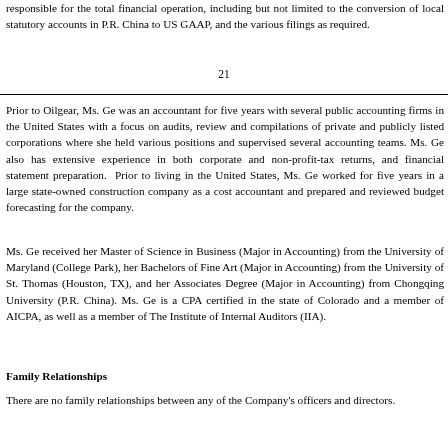responsible for the total financial operation, including but not limited to the conversion of local statutory accounts in P.R. China to US GAAP, and the various filings as required.
21
Prior to Oilgear, Ms. Ge was an accountant for five years with several public accounting firms in the United States with a focus on audits, review and compilations of private and publicly listed corporations where she held various positions and supervised several accounting teams. Ms. Ge also has extensive experience in both corporate and non-profit-tax returns, and financial statement preparation. Prior to living in the United States, Ms. Ge worked for five years in a large state-owned construction company as a cost accountant and prepared and reviewed budget forecasting for the company.
Ms. Ge received her Master of Science in Business (Major in Accounting) from the University of Maryland (College Park), her Bachelors of Fine Art (Major in Accounting) from the University of St. Thomas (Houston, TX), and her Associates Degree (Major in Accounting) from Chongqing University (P.R. China). Ms. Ge is a CPA certified in the state of Colorado and a member of AICPA, as well as a member of The Institute of Internal Auditors (IIA).
Family Relationships
There are no family relationships between any of the Company's officers and directors.